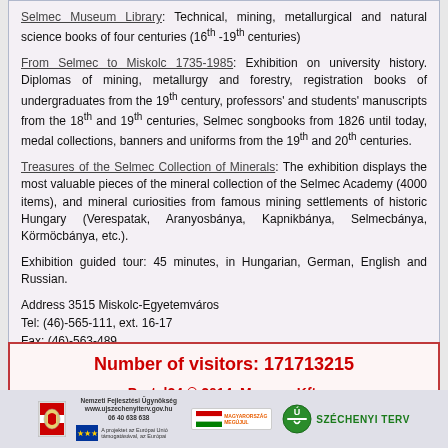Selmec Museum Library: Technical, mining, metallurgical and natural science books of four centuries (16th -19th centuries)
From Selmec to Miskolc 1735-1985: Exhibition on university history. Diplomas of mining, metallurgy and forestry, registration books of undergraduates from the 19th century, professors' and students' manuscripts from the 18th and 19th centuries, Selmec songbooks from 1826 until today, medal collections, banners and uniforms from the 19th and 20th centuries.
Treasures of the Selmec Collection of Minerals: The exhibition displays the most valuable pieces of the mineral collection of the Selmec Academy (4000 items), and mineral curiosities from famous mining settlements of historic Hungary (Verespatak, Aranyosbánya, Kapnikbánya, Selmecbánya, Körmöcbánya, etc.).
Exhibition guided tour: 45 minutes, in Hungarian, German, English and Russian.
Address 3515 Miskolc-Egyetemváros
Tel: (46)-565-111, ext. 16-17
Fax: (46)-563-489
E-mail: konloss@uni-miskolc.hu
Number of visitors: 171713215
Portal24 © 2014  Monguz Kft.
Powered by Liferay
[Figure (logo): Footer with Hungarian government logos: coat of arms, National Development Agency, EU stars, MAGYARORSZÁG MEGÚJUL badge, Széchenyi Terv logo]